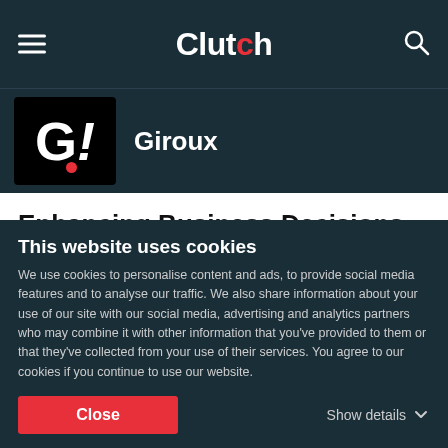Clutch
Giroux
Enhancing Business Decisions
SUBMIT A REVIEW
GIROUX's Analytics-as-a-Service platform is revolutionising the way companies do business around the world.
Long gone are the days of mind-numbing and error-prone manual processes, long gone are late the night spreadsheets
This website uses cookies
We use cookies to personalise content and ads, to provide social media features and to analyse our traffic. We also share information about your use of our site with our social media, advertising and analytics partners who may combine it with other information that you've provided to them or that they've collected from your use of their services. You agree to our cookies if you continue to use our website.
Close
Show details